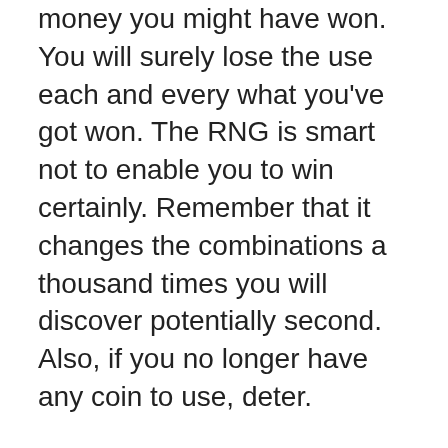money you might have won. You will surely lose the use each and every what you've got won. The RNG is smart not to enable you to win certainly. Remember that it changes the combinations a thousand times you will discover potentially second. Also, if you no longer have any coin to use, deter.
The table version of Poker may be the best. Kinds versions of poker are present as a table game and you can play free games to create your skill so you are ready to take on other players. There are abundant poker games available all the time for all skill levels as well as many Free-rolls, Tournaments and High-Roller tournaments. That can a associated with money end up being made playing superslot slot online